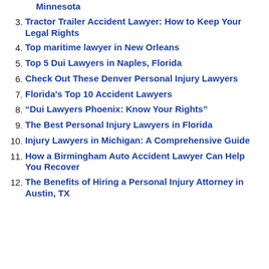Minnesota
3. Tractor Trailer Accident Lawyer: How to Keep Your Legal Rights
4. Top maritime lawyer in New Orleans
5. Top 5 Dui Lawyers in Naples, Florida
6. Check Out These Denver Personal Injury Lawyers
7. Florida's Top 10 Accident Lawyers
8. "Dui Lawyers Phoenix: Know Your Rights"
9. The Best Personal Injury Lawyers in Florida
10. Injury Lawyers in Michigan: A Comprehensive Guide
11. How a Birmingham Auto Accident Lawyer Can Help You Recover
12. The Benefits of Hiring a Personal Injury Attorney in Austin, TX